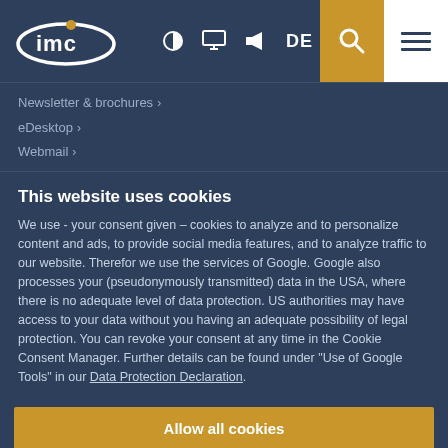[Figure (logo): IMC logo - white text with yellow dot on dark blue background, navigation bar with icons for contrast, monitor, megaphone, DE language, search (gold background), and hamburger menu (white background)]
Newsletter & brochures >
eDesktop >
Webmail >
This website uses cookies
We use - your consent given – cookies to analyze and to personalize content and ads, to provide social media features, and to analyze traffic to our website. Therefor we use the services of Google. Google also processes your (pseudonymously transmitted) data in the USA, where there is no adequate level of data protection. US authorities may have access to your data without you having an adequate possibility of legal protection. You can revoke your consent at any time in the Cookie Consent Manager. Further details can be found under "Use of Google Tools" in our Data Protection Declaration.
Allow all cookies
Use necessary cookies only
Show details